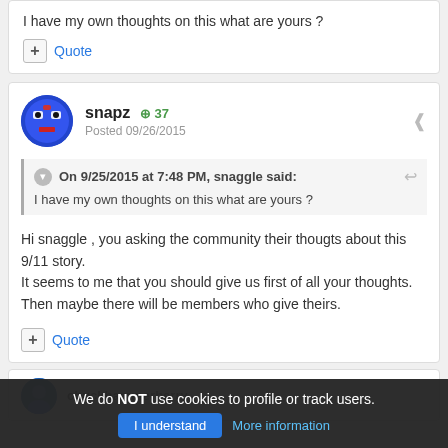I have my own thoughts on this what are yours ?
+ Quote
snapz +37 Posted 09/26/2015
On 9/25/2015 at 7:48 PM, snaggle said:
I have my own thoughts on this what are yours ?
Hi snaggle , you asking the community their thougts about this 9/11 story.
It seems to me that you should give us first of all your thoughts.
Then maybe there will be members who give theirs.
+ Quote
We do NOT use cookies to profile or track users.
chuckhammerberry